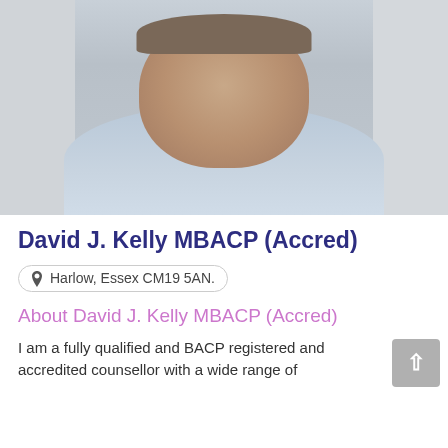[Figure (photo): Headshot of a middle-aged man in a light blue shirt, smiling, against a light background]
David J. Kelly MBACP (Accred)
Harlow, Essex CM19 5AN.
About David J. Kelly MBACP (Accred)
I am a fully qualified and BACP registered and accredited counsellor with a wide range of